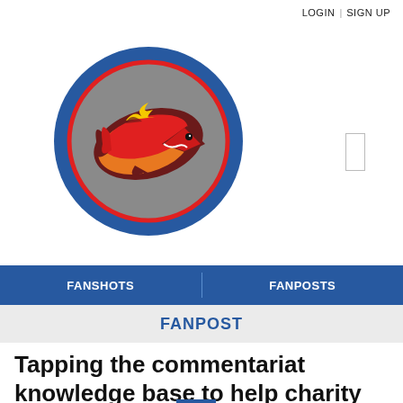LOGIN | SIGN UP
[Figure (logo): Sports team logo: blue circle with a red-outlined gray circle containing a flaming red and orange shark/football graphic]
FANSHOTS | FANPOSTS
FANPOST
Tapping the commentariat knowledge base to help charity